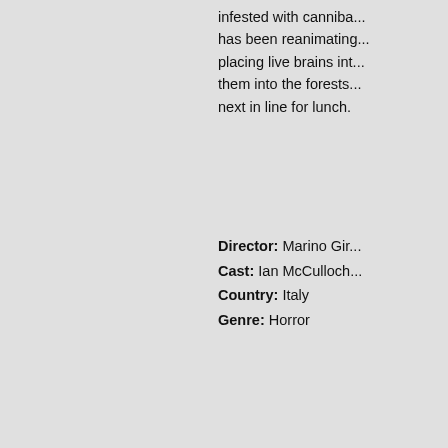infested with canniba... has been reanimating... placing live brains int... them into the forests... next in line for lunch.
Director: Marino Gir...
Cast: Ian McCulloch...
Country: Italy
Genre: Horror
Zombi Holocaust (1980) Media Blast
~~~
DVD9 | NTSC 16:9 | 01:24:02 | 7.55...
Language: English
Subtitles: none
Extras:
American trailer
German trailer
Bonus trailers for "Jungle Holocaust", "Eaten Alive", "Beyond The Dar...
"Zombie Art Gallery": stills, posters, lobby cards and photos of the pro... opening in New York
Deleted scene which was cut from the original Italian print
Video interview with special effects artist Maurizio Tani...